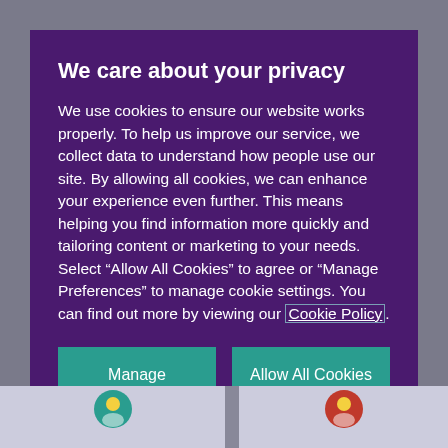We care about your privacy
We use cookies to ensure our website works properly. To help us improve our service, we collect data to understand how people use our site. By allowing all cookies, we can enhance your experience even further. This means helping you find information more quickly and tailoring content or marketing to your needs. Select “Allow All Cookies” to agree or “Manage Preferences” to manage cookie settings. You can find out more by viewing our Cookie Policy.
Manage Preferences
Allow All Cookies